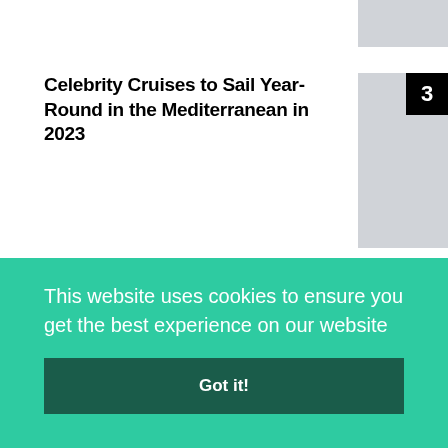[Figure (photo): Cropped image placeholder at top right]
Celebrity Cruises to Sail Year-Round in the Mediterranean in 2023
[Figure (photo): Image placeholder with badge number 3]
I Want to Be On Below Deck! Chartering Yachts On a Budget
[Figure (photo): Image placeholder with badge number 4]
RECENT POSTS
This website uses cookies to ensure you get the best experience on our website
Got it!